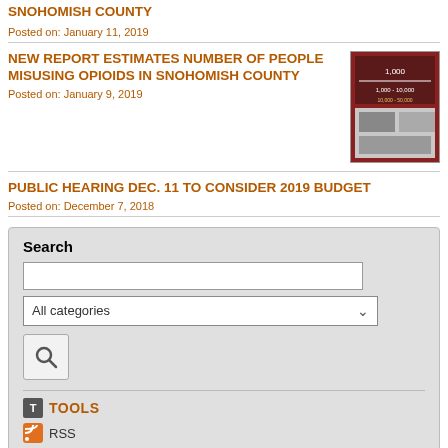SNOHOMISH COUNTY
Posted on: January 11, 2019
NEW REPORT ESTIMATES NUMBER OF PEOPLE MISUSING OPIOIDS IN SNOHOMISH COUNTY
[Figure (photo): Thumbnail image showing opioid report infographic with statistics]
Posted on: January 9, 2019
PUBLIC HEARING DEC. 11 TO CONSIDER 2019 BUDGET
Posted on: December 7, 2018
Search
All categories
TOOLS
RSS